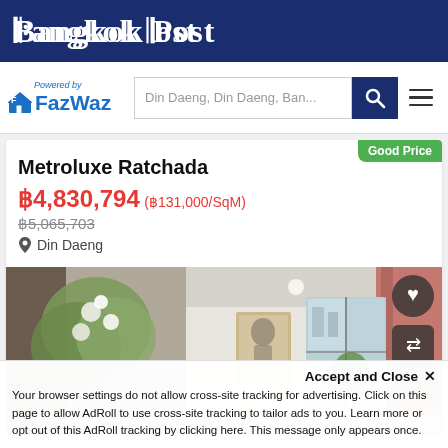Bangkok Post
[Figure (logo): FazWaz logo with house icon and 'Powered by' text, alongside a search bar showing 'Din Daeng, Din Daeng, Ban...' and a search button and hamburger menu]
Metroluxe Ratchada
฿4,830,794 (฿131,000/SqM)
฿5,065,703
Din Daeng
[Figure (photo): Interior photo of a condominium unit showing living space with flowers, artwork on wall, and large windows with curtains and city view]
Accept and Close ×
Your browser settings do not allow cross-site tracking for advertising. Click on this page to allow AdRoll to use cross-site tracking to tailor ads to you. Learn more or opt out of this AdRoll tracking by clicking here. This message only appears once.